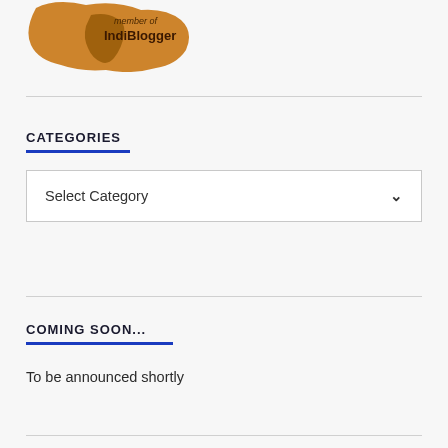[Figure (logo): IndiBlogger member badge — orange/brown map shape with 'member of IndiBlogger' text]
CATEGORIES
Select Category
COMING SOON...
To be announced shortly